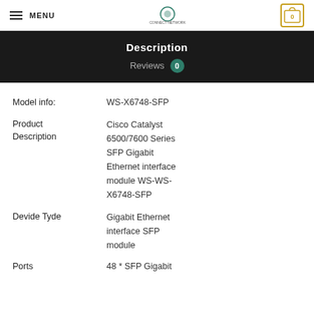MENU | CONNECT NETWORK | 0
Description
Reviews 0
| Field | Value |
| --- | --- |
| Model info: | WS-X6748-SFP |
| Product Description | Cisco Catalyst 6500/7600 Series SFP Gigabit Ethernet interface module WS-WS-X6748-SFP |
| Devide Tyde | Gigabit Ethernet interface SFP module |
| Ports | 48 * SFP Gigabit |